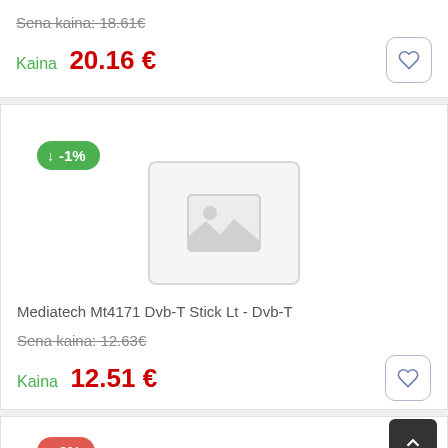Sena kaina: 18.61€
Kaina 20.16 €
[Figure (other): Green badge showing -1% discount]
[Figure (photo): Product image placeholder (no image available)]
Mediatech Mt4171 Dvb-T Stick Lt - Dvb-T
Sena kaina: 12.63€
Kaina 12.51 €
[Figure (other): Red badge showing 3% increase (partial)]